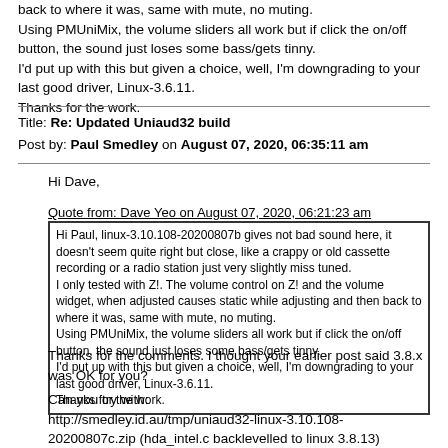back to where it was, same with mute, no muting.
Using PMUniMix, the volume sliders all work but if click the on/off button, the sound just loses some bass/gets tinny.
I'd put up with this but given a choice, well, I'm downgrading to your last good driver, Linux-3.6.11.
Thanks for the work.
Title: Re: Updated Uniaud32 build
Post by: Paul Smedley on August 07, 2020, 06:35:11 am
Hi Dave,
Quote from: Dave Yeo on August 07, 2020, 06:21:23 am
Hi Paul, linux-3.10.108-20200807b gives not bad sound here, it doesn't seem quite right but close, like a crappy or old cassette recording or a radio station just very slightly miss tuned.
I only tested with Z!. The volume control on Z! and the volume widget, when adjusted causes static while adjusting and then back to where it was, same with mute, no muting.
Using PMUniMix, the volume sliders all work but if click the on/off button, the sound just loses some bass/gets tinny.
I'd put up with this but given a choice, well, I'm downgrading to your last good driver, Linux-3.6.11.
Thanks for the work.
Thanks for the comments. I thought your earlier post said 3.8.x was OK for you?
Can you try with:
http://smedley.id.au/tmp/uniaud32-linux-3.10.108-20200807c.zip (hda_intel.c backlevelled to linux 3.8.13)
or